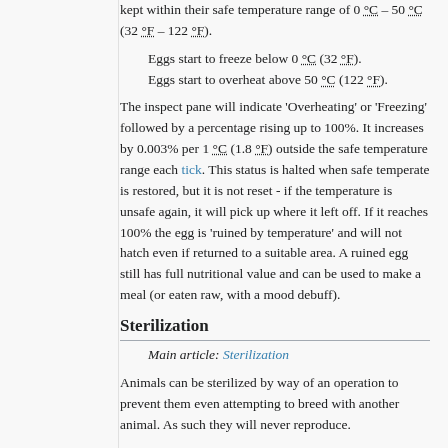kept within their safe temperature range of 0 °C – 50 °C (32 °F – 122 °F).
Eggs start to freeze below 0 °C (32 °F).
Eggs start to overheat above 50 °C (122 °F).
The inspect pane will indicate 'Overheating' or 'Freezing' followed by a percentage rising up to 100%. It increases by 0.003% per 1 °C (1.8 °F) outside the safe temperature range each tick. This status is halted when safe temperate is restored, but it is not reset - if the temperature is unsafe again, it will pick up where it left off. If it reaches 100% the egg is 'ruined by temperature' and will not hatch even if returned to a suitable area. A ruined egg still has full nutritional value and can be used to make a meal (or eaten raw, with a mood debuff).
Sterilization
Main article: Sterilization
Animals can be sterilized by way of an operation to prevent them even attempting to breed with another animal. As such they will never reproduce.